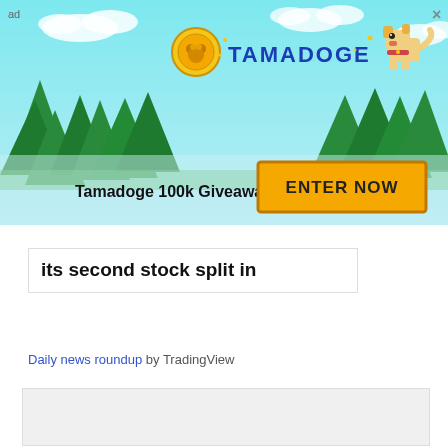[Figure (infographic): Tamadoge 100k Giveaway advertisement banner with pixel-art dog mascot, coin logo, trees background on cyan/teal sky, and an orange ENTER NOW button. Text reads 'Tamadoge 100k Giveaway' with 'ENTER NOW' button.]
its second stock split in
Daily news roundup by TradingView
[Figure (other): Empty light gray content placeholder box]